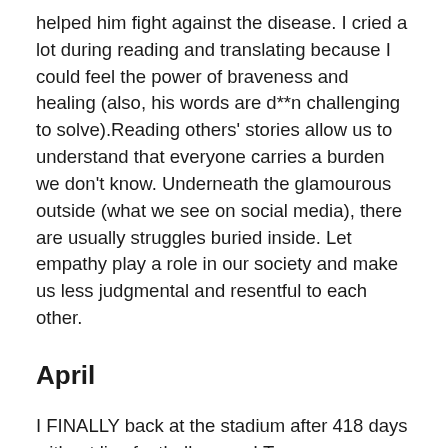helped him fight against the disease. I cried a lot during reading and translating because I could feel the power of braveness and healing (also, his words are d**n challenging to solve).Reading others' stories allow us to understand that everyone carries a burden we don't know. Underneath the glamourous outside (what we see on social media), there are usually struggles buried inside. Let empathy play a role in our society and make us less judgmental and resentful to each other.
April
I FINALLY back at the stadium after 418 days without live football games! To see Manchester City FC win the Carabao Cup for the fourth year in a row at Wembley drove me to tears - the atmosphere, the togetherness from the crowd, the chanting and singing. It teaches me